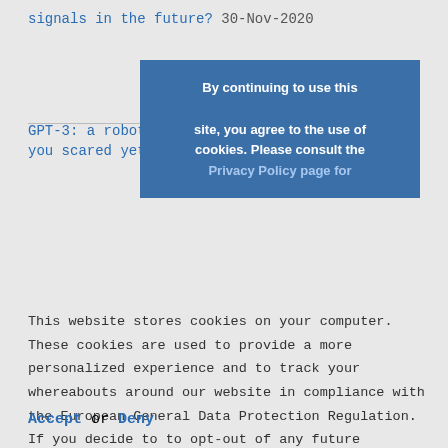signals in the future? 30-Nov-2020
GPT-3: a robot wrote this entire article. Are you scared yet, human? 29-Nov-2020
[Figure (other): Cookie consent banner overlay with blue background. Text reads: 'By continuing to use this site, you agree to the use of cookies. Please consult the Privacy Policy page for']
This website stores cookies on your computer. These cookies are used to provide a more personalized experience and to track your whereabouts around our website in compliance with the European General Data Protection Regulation. If you decide to to opt-out of any future tracking, a cookie will be setup in your browser to remember this choice for one year.
Accept or Deny